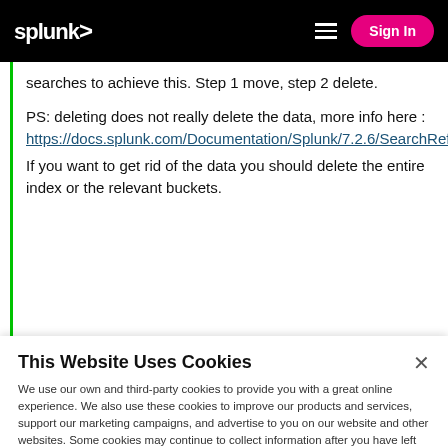splunk> [hamburger menu] Sign In
searches to achieve this. Step 1 move, step 2 delete.

PS: deleting does not really delete the data, more info here :
https://docs.splunk.com/Documentation/Splunk/7.2.6/SearchReference/Delete
If you want to get rid of the data you should delete the entire index or the relevant buckets.
This Website Uses Cookies
We use our own and third-party cookies to provide you with a great online experience. We also use these cookies to improve our products and services, support our marketing campaigns, and advertise to you on our website and other websites. Some cookies may continue to collect information after you have left our website. Learn more here ›
Accept Cookies
Cookies Settings ›